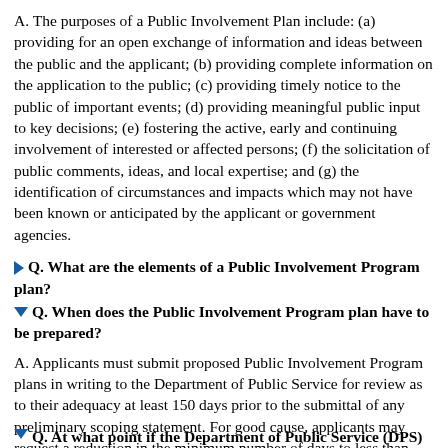A. The purposes of a Public Involvement Plan include: (a) providing for an open exchange of information and ideas between the public and the applicant; (b) providing complete information on the application to the public; (c) providing timely notice to the public of important events; (d) providing meaningful public input to key decisions; (e) fostering the active, early and continuing involvement of interested or affected persons; (f) the solicitation of public comments, ideas, and local expertise; and (g) the identification of circumstances and impacts which may not have been known or anticipated by the applicant or government agencies.
Q. What are the elements of a Public Involvement Program plan?
Q. When does the Public Involvement Program plan have to be prepared?
A. Applicants must submit proposed Public Involvement Program plans in writing to the Department of Public Service for review as to their adequacy at least 150 days prior to the submittal of any preliminary scoping statement. For good cause, applicants may request a reduction in the minimum number of days to less than 150.
Q. At what point if the Department of Public Service (DPS)...